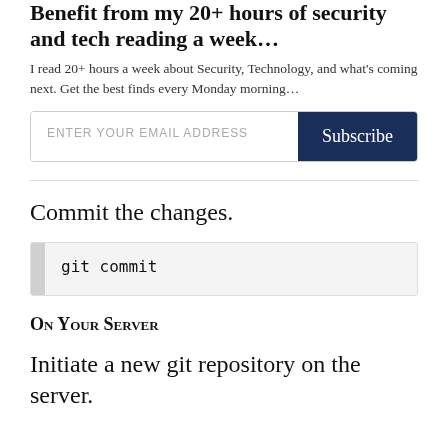Benefit from my 20+ hours of security and tech reading a week…
I read 20+ hours a week about Security, Technology, and what's coming next. Get the best finds every Monday morning…
[Figure (other): Email subscription bar with placeholder text 'ENTER YOUR EMAIL ADDRESS' and a dark navy 'Subscribe' button]
Commit the changes.
On Your Server
Initiate a new git repository on the server.